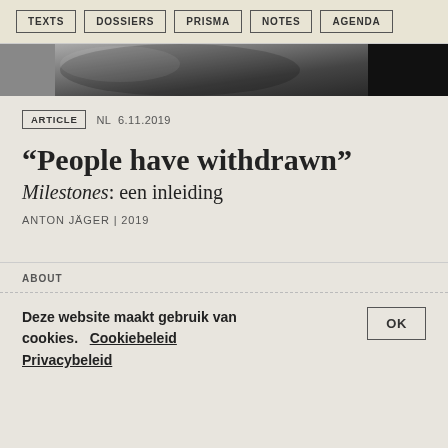TEXTS  DOSSIERS  PRISMA  NOTES  AGENDA
[Figure (photo): Black and white cropped photo strip used as a hero/banner image at the top of the article]
ARTICLE  NL  6.11.2019
“People have withdrawn”
Milestones: een inleiding
ANTON JÄGER | 2019
ABOUT
Deze website maakt gebruik van cookies.  Cookiebeleid  Privacybeleid